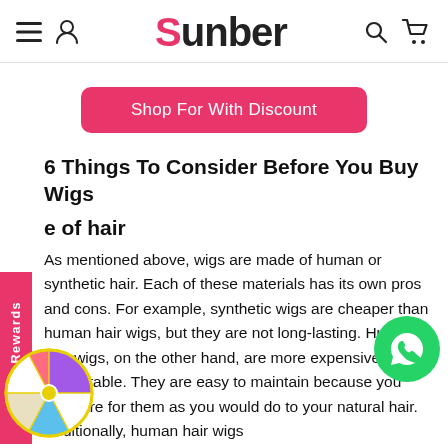Sunber
[Figure (other): Shop For With Discount button - pink rounded rectangle button]
6 Things To Consider Before You Buy Wigs
e of hair
As mentioned above, wigs are made of human or synthetic hair. Each of these materials has its own pros and cons. For example, synthetic wigs are cheaper than human hair wigs, but they are not long-lasting. Human hair wigs, on the other hand, are more expensive but are durable. They are easy to maintain because you can care for them as you would do to your natural hair. Additionally, human hair wigs
[Figure (other): Points Rewards vertical pink sidebar label]
[Figure (other): WhatsApp green circle icon button]
[Figure (other): Spin wheel / prize wheel colorful circular widget]